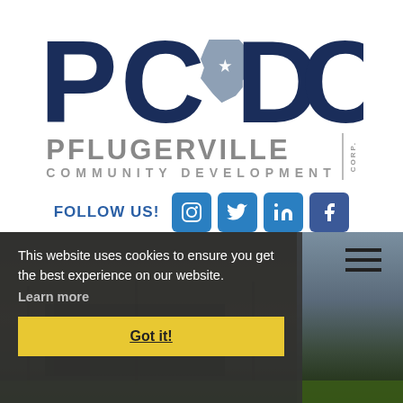[Figure (logo): PCDC Pflugerville Community Development Corp. logo with large dark navy PCDC lettering and Texas state outline with star]
FOLLOW US!
[Figure (infographic): Social media icons: Instagram, Twitter, LinkedIn, Facebook in blue rounded squares]
This website uses cookies to ensure you get the best experience on our website.
Learn more
Got it!
[Figure (photo): Dark moody photo of a commercial building at dusk with green grass and cloudy sky]